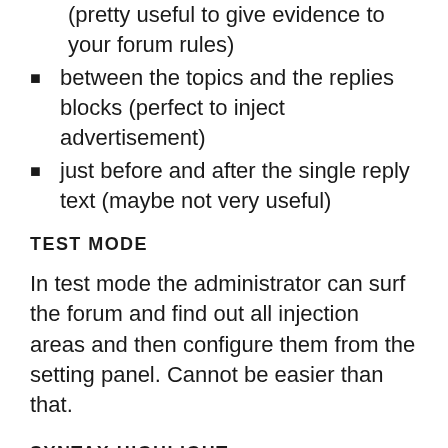(pretty useful to give evidence to your forum rules)
between the topics and the replies blocks (perfect to inject advertisement)
just before and after the single reply text (maybe not very useful)
TEST MODE
In test mode the administrator can surf the forum and find out all injection areas and then configure them from the setting panel. Cannot be easier than that.
SYNTAX HIGHLIGHT
Using Code Mirror as editor, you have the syntax highlight for your JavaScript, HTML and PHP which makes it easy to edit and check the code.